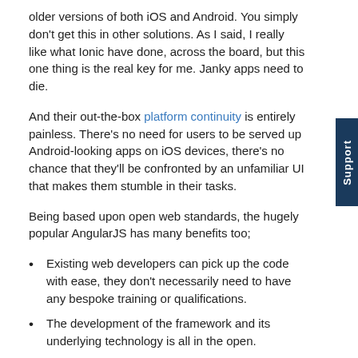older versions of both iOS and Android. You simply don't get this in other solutions. As I said, I really like what Ionic have done, across the board, but this one thing is the real key for me. Janky apps need to die.
And their out-the-box platform continuity is entirely painless. There's no need for users to be served up Android-looking apps on iOS devices, there's no chance that they'll be confronted by an unfamiliar UI that makes them stumble in their tasks.
Being based upon open web standards, the hugely popular AngularJS has many benefits too;
Existing web developers can pick up the code with ease, they don't necessarily need to have any bespoke training or qualifications.
The development of the framework and its underlying technology is all in the open.
There are many developers around the world building with the tools, filing bugs and fixing issues.